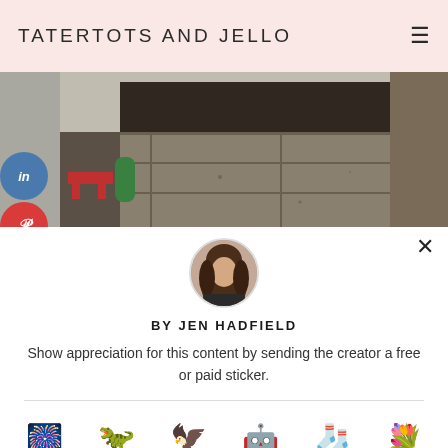TATERTOTS AND JELLO
[Figure (photo): Photo of a worn wooden floor/hallway with a door, viewed from a low angle. Social media share buttons visible on the left: LinkedIn, Pinterest, Twitter.]
[Figure (photo): Circular avatar photo of Jen Hadfield, a woman with long hair wearing a dark shirt.]
BY JEN HADFIELD
Show appreciation for this content by sending the creator a free or paid sticker.
Free  $1.00  $2.00  $4.00  $8.00  $12.00